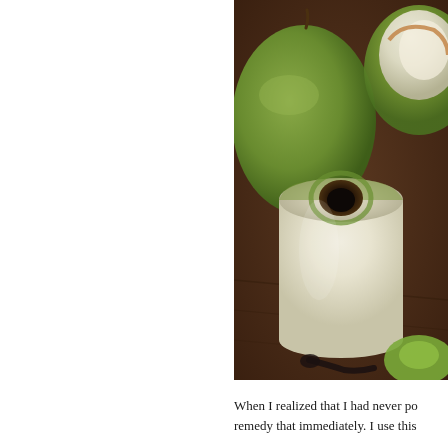[Figure (photo): Close-up photograph of peeled green mangoes on a wooden surface. A cylindrical peeled mango stands upright in the center foreground with a dark hollow at its top. Two unpeeled green mangoes are visible in the background, and a partially peeled mango is cut on the upper right. A dark spoon or utensil is visible at the bottom.]
When I realized that I had never po... remedy that immediately. I use this...